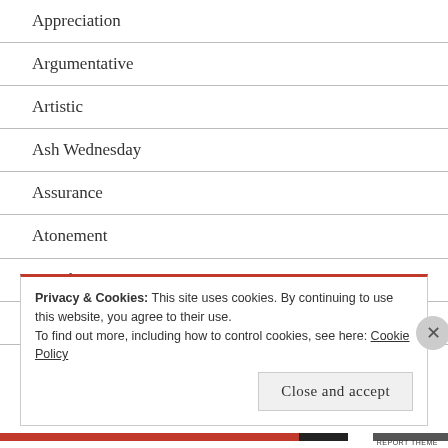Appreciation
Argumentative
Artistic
Ash Wednesday
Assurance
Atonement
Attacks
Attitude
Authenticity
Privacy & Cookies: This site uses cookies. By continuing to use this website, you agree to their use.
To find out more, including how to control cookies, see here: Cookie Policy
Close and accept